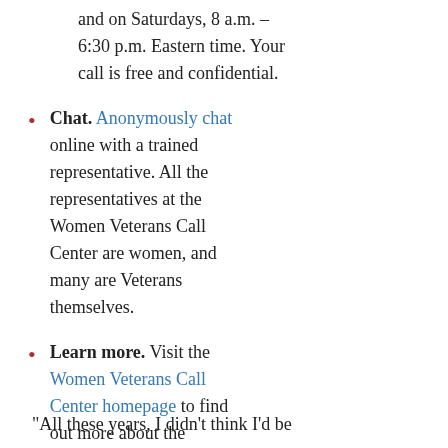and on Saturdays, 8 a.m. – 6:30 p.m. Eastern time. Your call is free and confidential.
Chat. Anonymously chat online with a trained representative. All the representatives at the Women Veterans Call Center are women, and many are Veterans themselves.
Learn more. Visit the Women Veterans Call Center homepage to find out more about the resource.
“All these years, I didn’t think I’d be